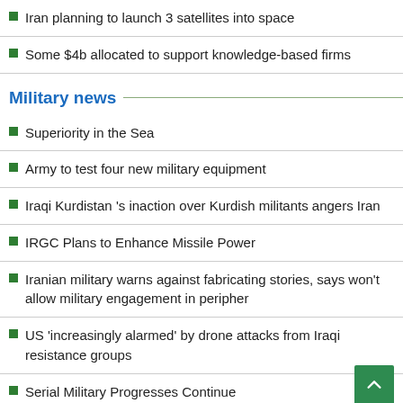Iran planning to launch 3 satellites into space
Some $4b allocated to support knowledge-based firms
Military news
Superiority in the Sea
Army to test four new military equipment
Iraqi Kurdistan 's inaction over Kurdish militants angers Iran
IRGC Plans to Enhance Missile Power
Iranian military warns against fabricating stories, says won't allow military engagement in peripher
US 'increasingly alarmed' by drone attacks from Iraqi resistance groups
Serial Military Progresses Continue